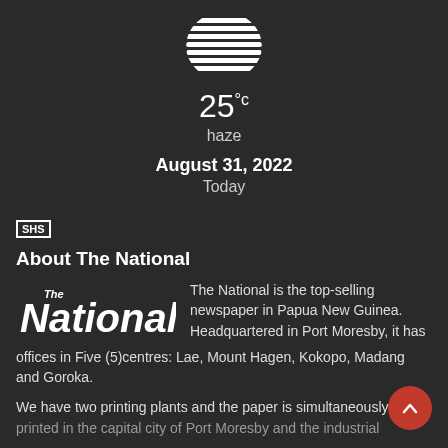[Figure (illustration): Weather icon: haze/fog symbol — horizontal lines forming a dome/circle shape in white on dark background]
25°c
haze
August 31, 2022
Today
SHS
About The National
[Figure (logo): The National newspaper logo in white bold italic text]
The National is the top-selling newspaper in Papua New Guinea. Headquartered in Port Moresby, it has offices in Five (5)centres: Lae, Mount Hagen, Kokopo, Madang and Goroka.
We have two printing plants and the paper is simultaneously printed in the capital city of Port Moresby and the industrial...